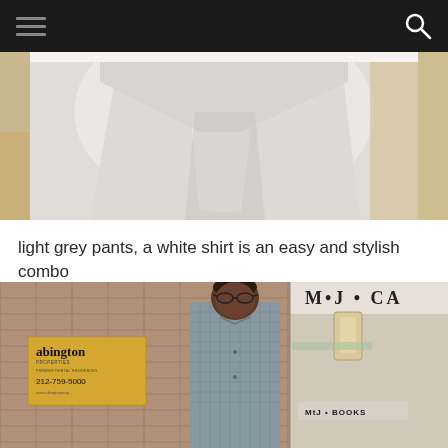Navigation menu and search icon
[Figure (photo): Close-up photo of a person wearing light grey pants and a white shirt, showing from waist down, outdoor setting with warm light]
light grey pants, a white shirt is an easy and stylish combo
[Figure (photo): A man wearing glasses and a grey checked shirt standing on a city street in front of an Abington Properties sign showing 212-759-5000, with MJ CA and MJ Books signage visible in the background]